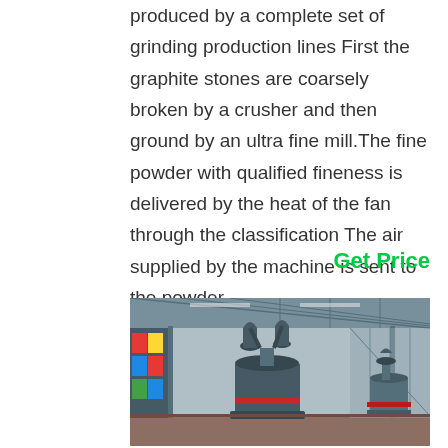produced by a complete set of grinding production lines First the graphite stones are coarsely broken by a crusher and then ground by an ultra fine mill.The fine powder with qualified fineness is delivered by the heat of the fan through the classification The air supplied by the machine is sent to the powder
Get Price
[Figure (photo): Industrial factory interior showing large grinding mill equipment — a tall cylindrical grey mill machine with attached cyclone separators, set inside a large steel-framed warehouse/factory building with metal roof trusses. Colorful panels visible on the left wall. Additional mill equipment visible on the right side.]